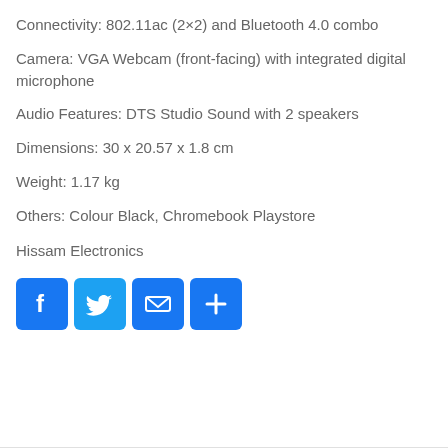Connectivity: 802.11ac (2×2) and Bluetooth 4.0 combo
Camera: VGA Webcam (front-facing) with integrated digital microphone
Audio Features: DTS Studio Sound with 2 speakers
Dimensions: 30 x 20.57 x 1.8 cm
Weight: 1.17 kg
Others: Colour Black, Chromebook Playstore
Hissam Electronics
[Figure (other): Social sharing buttons: Facebook, Twitter, Email, and More (+)]